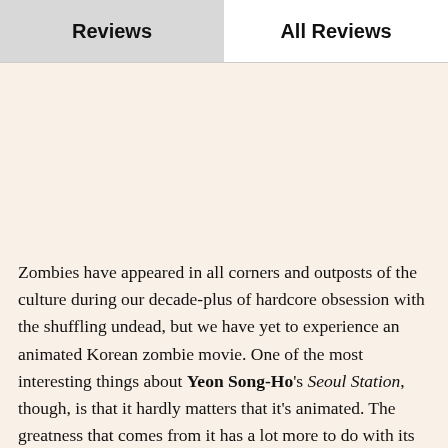Reviews | All Reviews
Zombies have appeared in all corners and outposts of the culture during our decade-plus of hardcore obsession with the shuffling undead, but we have yet to experience an animated Korean zombie movie. One of the most interesting things about Yeon Song-Ho's Seoul Station, though, is that it hardly matters that it's animated. The greatness that comes from it has a lot more to do with its